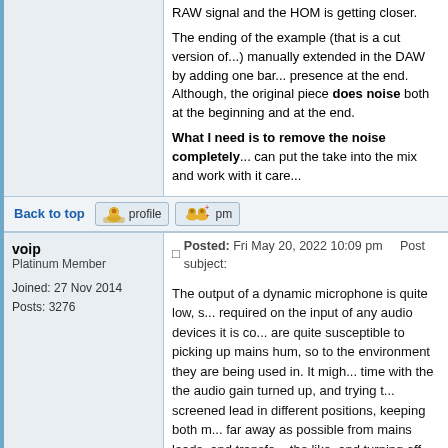RAW signal and the HOM is getting closer.

The ending of the example (that is a cut version of...) manually extended in the DAW by adding one bar... presence at the end. Although, the original piece does noise both at the beginning and at the end.

What I need is to remove the noise completely ... can put the take into the mix and work with it carefully
Back to top
[Figure (other): Profile button and Send PM button]
voip
Platinum Member

Joined: 27 Nov 2014
Posts: 3276
Posted: Fri May 20, 2022 10:09 pm    Post subject:
The output of a dynamic microphone is quite low, ... required on the input of any audio devices it is co... are quite susceptible to picking up mains hum, so ... to the environment they are being used in. It migh... time with the the audio gain turned up, and trying ... screened lead in different positions, keeping both ... far away as possible from mains leads, and transfo... the like, and turning off unnecessary electrical ite... check earthing arrangements, and make sure the ... contact is clean and good at both ends, the jack a...

Also, try moving the Kross around. It may be resti...